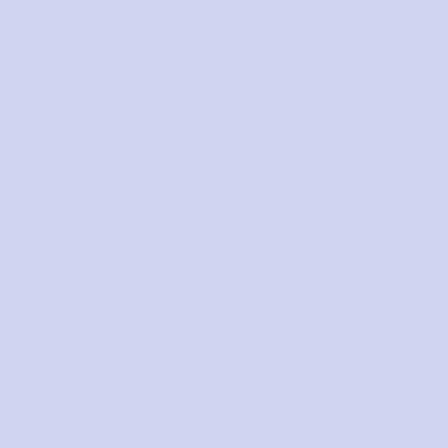Source code listing lines 680-709 showing C extern declarations for Lisp_Object functions and comments about eval.c and editfr files